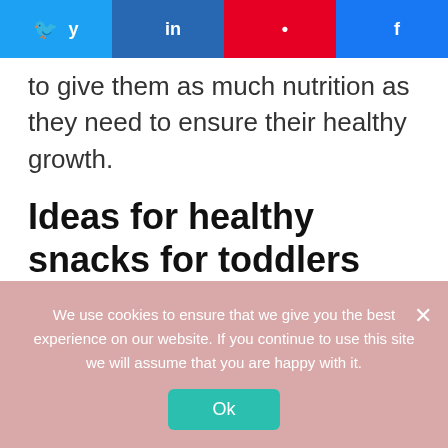[Figure (other): Social share buttons row: Twitter, LinkedIn, Pinterest, Facebook]
to give them as much nutrition as they need to ensure their healthy growth.
Ideas for healthy snacks for toddlers and preschoolers:
Innovation is the key to keep your kids interested in his food. However, as your toddler can take in just a few options,
We use cookies to ensure that we give you the best experience on our website. If you continue to use this site we will assume that you are happy with it.